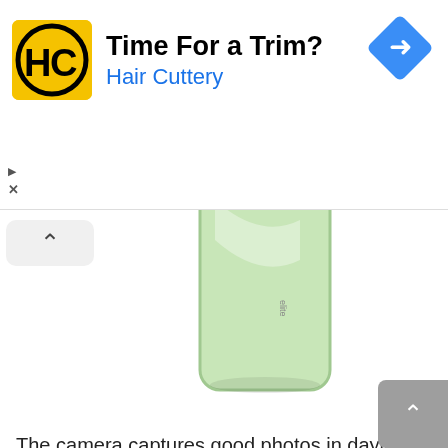[Figure (infographic): Hair Cuttery advertisement banner with yellow logo showing HC initials, text 'Time For a Trim? Hair Cuttery', and a blue diamond navigation icon on the right. Small ad indicator text with triangle and X below.]
[Figure (photo): Partial view of a green smartphone (possibly iPhone or similar) shot from behind, showing the top portion of the device with a light green/mint color. A collapse/chevron-up button is visible on the left.]
The camera captures good photos in daylight. The dynamic range of the primary camera is quite good but the details were very less even in daylight. The HDR system was shooting very aggressive photos at times making the sky look too blue. Macro shots were seen with over-sharpness.
You will find portrait mode only in the rear camera. Edge detection was good but the background was getting over-exposed. Portrait mode only worked